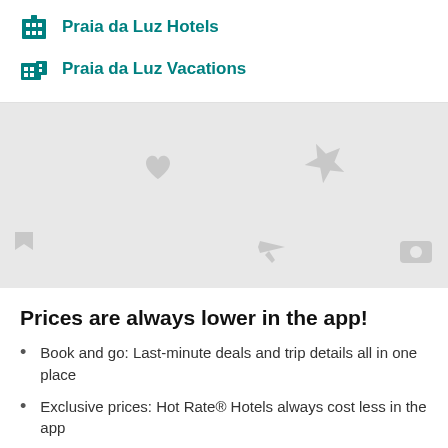Praia da Luz Hotels
Praia da Luz Vacations
[Figure (illustration): Grey decorative pattern background with travel-themed icons: hearts, stars, airplanes, cameras, smiley faces, map pins, luggage icons arranged in a repeating tile pattern on a light grey background.]
Prices are always lower in the app!
Book and go: Last-minute deals and trip details all in one place
Exclusive prices: Hot Rate® Hotels always cost less in the app
Fresh features: So slick you'll never go back to desktop